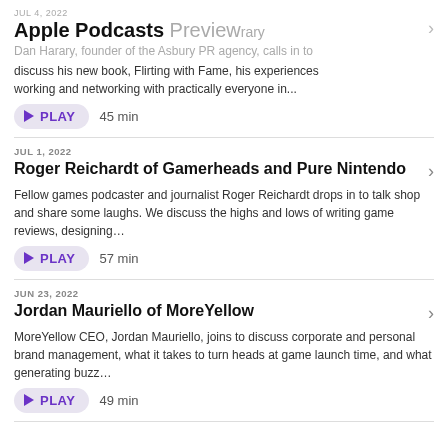JUL 4, 2022 | Apple Podcasts Preview
Dan Harary, founder of the Asbury PR agency, calls in to discuss his new book, Flirting with Fame, his experiences working and networking with practically everyone in...
▶ PLAY  45 min
JUL 1, 2022
Roger Reichardt of Gamerheads and Pure Nintendo
Fellow games podcaster and journalist Roger Reichardt drops in to talk shop and share some laughs. We discuss the highs and lows of writing game reviews, designing...
▶ PLAY  57 min
JUN 23, 2022
Jordan Mauriello of MoreYellow
MoreYellow CEO, Jordan Mauriello, joins to discuss corporate and personal brand management, what it takes to turn heads at game launch time, and what generating buzz...
▶ PLAY  49 min